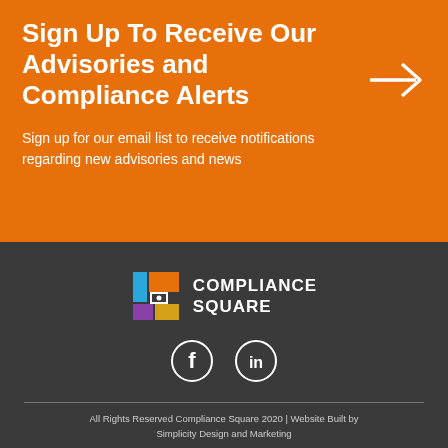Sign Up To Receive Our Advisories and Compliance Alerts
Sign up for our email list to receive notifications regarding new advisories and news
[Figure (logo): Compliance Square logo with colorful square icon and white text]
[Figure (infographic): Social media icons: Facebook and LinkedIn circles]
All Rights Reserved Compliance Square 2020 | Website Built by Simplicity Design and Marketing